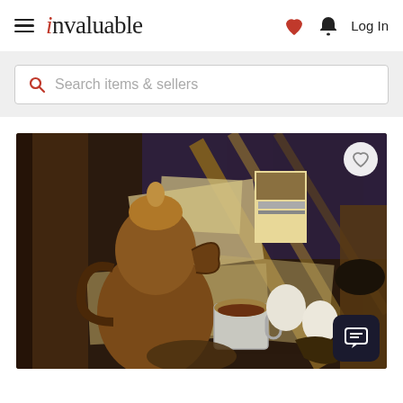invaluable — Log In
Search items & sellers
[Figure (photo): Still life oil painting showing a coffee pot, mug, eggs, newspaper clippings, and a pipe arranged on a table with dark brown and purple tones, in a Cubist style.]